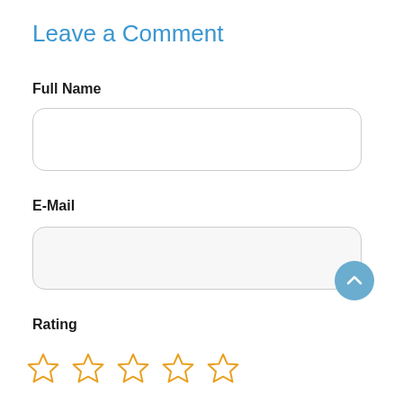Leave a Comment
Full Name
[Figure (other): Empty text input field for Full Name with rounded corners and light gray border]
E-Mail
[Figure (other): Empty text input field for E-Mail with rounded corners and light gray border, with a blue circular scroll-to-top button overlapping the bottom-right corner]
Rating
[Figure (other): Five empty star rating icons in orange/amber outline style]